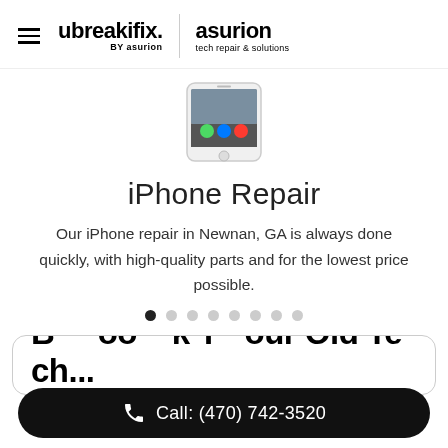[Figure (logo): ubreakifix by asurion and asurion tech repair & solutions logos with hamburger menu]
[Figure (photo): iPhone device thumbnail image showing home screen]
iPhone Repair
Our iPhone repair in Newnan, GA is always done quickly, with high-quality parts and for the lowest price possible.
[Figure (other): Carousel pagination dots, 8 dots total with first dot active]
Book Your Old Tech...
Call: (470) 742-3520